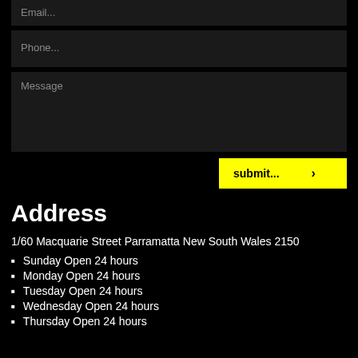[Figure (screenshot): Email input field (placeholder: Email...)]
[Figure (screenshot): Phone input field (placeholder: Phone...)]
[Figure (screenshot): Message textarea (placeholder: Message)]
[Figure (screenshot): Yellow submit button with right arrow]
Address
1/60 Macquarie Street Parramatta New South Wales 2150
Sunday Open 24 hours
Monday Open 24 hours
Tuesday Open 24 hours
Wednesday Open 24 hours
Thursday Open 24 hours